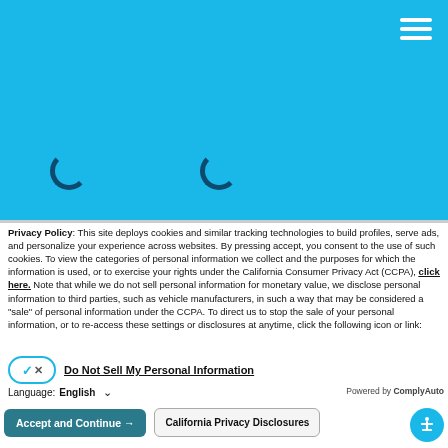[Figure (screenshot): Blue header area with hamburger menu icon in top right and two loading spinner icons]
Privacy Policy: This site deploys cookies and similar tracking technologies to build profiles, serve ads, and personalize your experience across websites. By pressing accept, you consent to the use of such cookies. To view the categories of personal information we collect and the purposes for which the information is used, or to exercise your rights under the California Consumer Privacy Act (CCPA), click here. Note that while we do not sell personal information for monetary value, we disclose personal information to third parties, such as vehicle manufacturers, in such a way that may be considered a "sale" of personal information under the CCPA. To direct us to stop the sale of your personal information, or to re-access these settings or disclosures at anytime, click the following icon or link:
Do Not Sell My Personal Information
Language:  English
Powered by ComplyAuto
Accept and Continue →
California Privacy Disclosures